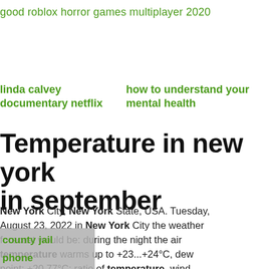good roblox horror games multiplayer 2020
linda calvey documentary netflix	how to understand your mental health
Temperature in new york in september
New York City, New York State, USA. Tuesday, August 23, 2022 in New York City the weather forecast would be: during the night the air temperature warms up to +23...+24°C, dew point: +20.77°C: ratio of temperature. wind
county jail phone